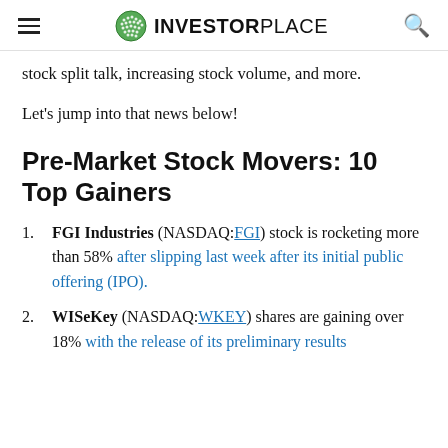INVESTORPLACE
stock split talk, increasing stock volume, and more.
Let's jump into that news below!
Pre-Market Stock Movers: 10 Top Gainers
FGI Industries (NASDAQ:FGI) stock is rocketing more than 58% after slipping last week after its initial public offering (IPO).
WISeKey (NASDAQ:WKEY) shares are gaining over 18% with the release of its preliminary results